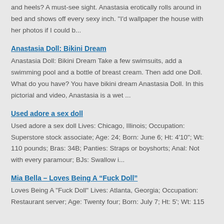and heels? A must-see sight. Anastasia erotically rolls around in bed and shows off every sexy inch. "I'd wallpaper the house with her photos if I could b...
Anastasia Doll: Bikini Dream
Anastasia Doll: Bikini Dream Take a few swimsuits, add a swimming pool and a bottle of breast cream. Then add one Doll. What do you have? You have bikini dream Anastasia Doll. In this pictorial and video, Anastasia is a wet ...
Used adore a sex doll
Used adore a sex doll Lives: Chicago, Illinois; Occupation: Superstore stock associate; Age: 24; Born: June 6; Ht: 4'10"; Wt: 110 pounds; Bras: 34B; Panties: Straps or boyshorts; Anal: Not with every paramour; BJs: Swallow i...
Mia Bella – Loves Being A “Fuck Doll”
Loves Being A "Fuck Doll" Lives: Atlanta, Georgia; Occupation: Restaurant server; Age: Twenty four; Born: July 7; Ht: 5'; Wt: 115